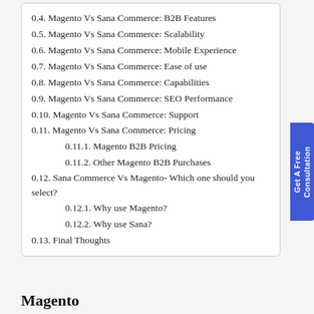0.4. Magento Vs Sana Commerce: B2B Features
0.5. Magento Vs Sana Commerce: Scalability
0.6. Magento Vs Sana Commerce: Mobile Experience
0.7. Magento Vs Sana Commerce: Ease of use
0.8. Magento Vs Sana Commerce: Capabilities
0.9. Magento Vs Sana Commerce: SEO Performance
0.10. Magento Vs Sana Commerce: Support
0.11. Magento Vs Sana Commerce: Pricing
0.11.1. Magento B2B Pricing
0.11.2. Other Magento B2B Purchases
0.12. Sana Commerce Vs Magento- Which one should you select?
0.12.1. Why use Magento?
0.12.2. Why use Sana?
0.13. Final Thoughts
Magento